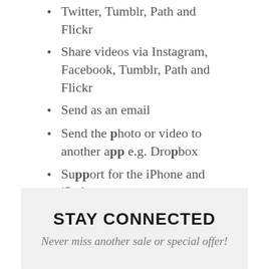Twitter, Tumblr, Path and Flickr
Share videos via Instagram, Facebook, Tumblr, Path and Flickr
Send as an email
Send the photo or video to another app e.g. Dropbox
Support for the iPhone and iPad
Thanks for watching & as always, feel free to email us with any questions!
> ORDER PRINTS
STAY CONNECTED
Never miss another sale or special offer!